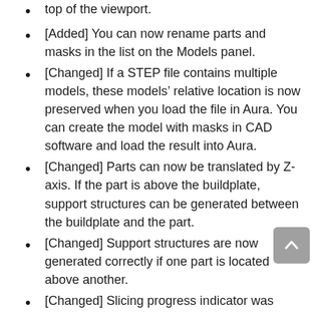top of the viewport.
[Added] You can now rename parts and masks in the list on the Models panel.
[Changed] If a STEP file contains multiple models, these models’ relative location is now preserved when you load the file in Aura. You can create the model with masks in CAD software and load the result into Aura.
[Changed] Parts can now be translated by Z-axis. If the part is above the buildplate, support structures can be generated between the buildplate and the part.
[Changed] Support structures are now generated correctly if one part is located above another.
[Changed] Slicing progress indicator was reworked.
[Changed] Multiple minor changes in toolpaths generation.
[Changed] Override values now saved correctly on license re-activation.